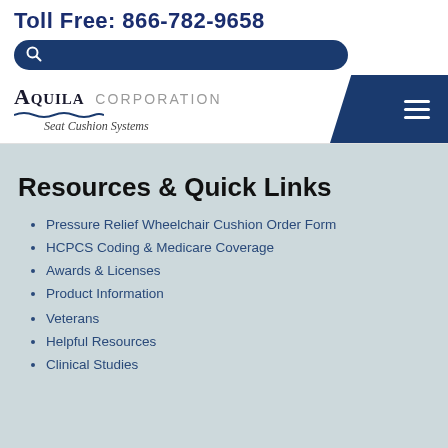Toll Free: 866-782-9658
[Figure (logo): Aquila Corporation Seat Cushion Systems logo with wave graphic]
Resources & Quick Links
Pressure Relief Wheelchair Cushion Order Form
HCPCS Coding & Medicare Coverage
Awards & Licenses
Product Information
Veterans
Helpful Resources
Clinical Studies